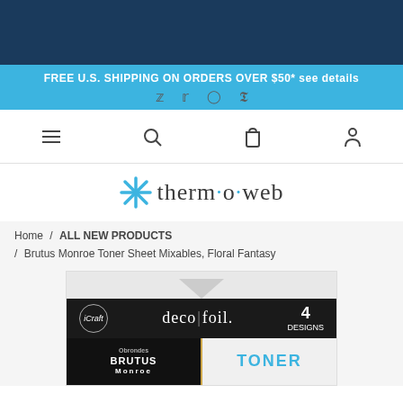FREE U.S. SHIPPING ON ORDERS OVER $50* see details
[Figure (other): Social media icons: Facebook, Twitter, Instagram, Pinterest]
[Figure (other): Navigation icons: hamburger menu, search, shopping bag, user account]
[Figure (logo): Therm-O-Web logo with blue asterisk/snowflake icon]
Home / ALL NEW PRODUCTS / Brutus Monroe Toner Sheet Mixables, Floral Fantasy
[Figure (photo): Product packaging for Brutus Monroe Toner Sheet Mixables, Floral Fantasy - iCraft deco foil packaging with 4 designs label]